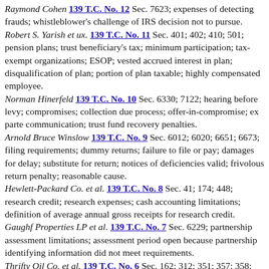Raymond Cohen 139 T.C. No. 12 Sec. 7623; expenses of detecting frauds; whistleblower's challenge of IRS decision not to pursue.
Robert S. Yarish et ux. 139 T.C. No. 11 Sec. 401; 402; 410; 501; pension plans; trust beneficiary's tax; minimum participation; tax-exempt organizations; ESOP; vested accrued interest in plan; disqualification of plan; portion of plan taxable; highly compensated employee.
Norman Hinerfeld 139 T.C. No. 10 Sec. 6330; 7122; hearing before levy; compromises; collection due process; offer-in-compromise; ex parte communication; trust fund recovery penalties.
Arnold Bruce Winslow 139 T.C. No. 9 Sec. 6012; 6020; 6651; 6673; filing requirements; dummy returns; failure to file or pay; damages for delay; substitute for return; notices of deficiencies valid; frivolous return penalty; reasonable cause.
Hewlett-Packard Co. et al. 139 T.C. No. 8 Sec. 41; 174; 448; research credit; research expenses; cash accounting limitations; definition of average annual gross receipts for research credit.
Gaughf Properties LP et al. 139 T.C. No. 7 Sec. 6229; partnership assessment limitations; assessment period open because partnership identifying information did not meet requirements.
Thrifty Oil Co. et al. 139 T.C. No. 6 Sec. 162; 312; 351; 357; 358; business expenses; effects on earnings and profits; transfers to controlled corporation; assumed liabilities; basis to distributees; environmental remediation expenses; losses previously realized as